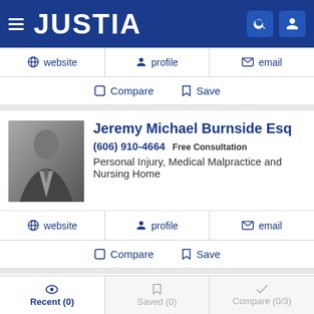JUSTIA
website  profile  email
Compare  Save
Jeremy Michael Burnside Esq
(606) 910-4664 Free Consultation
Personal Injury, Medical Malpractice and Nursing Home
website  profile  email
Compare  Save
Justin D Criswell
Recent (0)  Saved (0)  Compare (0/3)